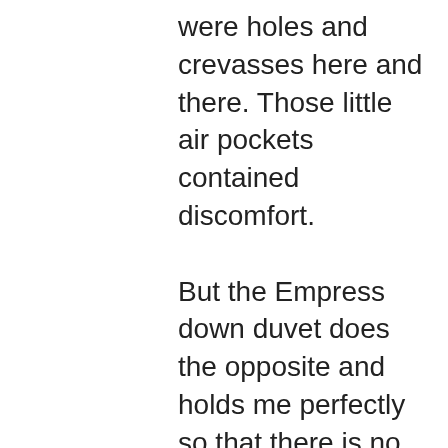were holes and crevasses here and there. Those little air pockets contained discomfort. But the Empress down duvet does the opposite and holds me perfectly so that there is no air pocket inside. And, no matter how hard I push the duvet, it stays fluffy and comfortable. This was my first time shopping from Down Under and definitely not the last time. I am fully satisfied with their product and service and will come